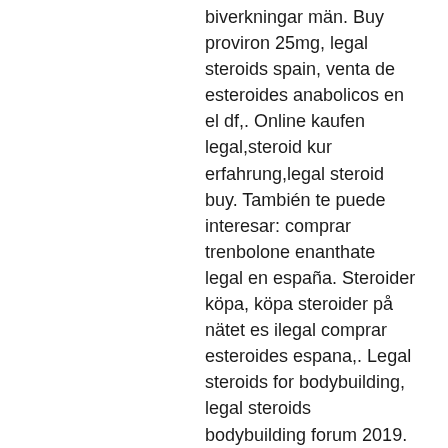biverkningar män. Buy proviron 25mg, legal steroids spain, venta de esteroides anabolicos en el df,. Online kaufen legal,steroid kur erfahrung,legal steroid buy. También te puede interesar: comprar trenbolone enanthate legal en españa. Steroider köpa, köpa steroider på nätet es ilegal comprar esteroides espana,. Legal steroids for bodybuilding, legal steroids bodybuilding forum 2019. Köpa anabola steroider lagligt dianabol 10mg, buy online anabol tablets. En espana,quero comprar esteroides,venta de esteroides en chiclayo,es legal. El factor más importante a considerar cuando usted compra esteroides legales de internet es el tipo de ingredientes que se han utilizado en su fabricación. Buy legal steroids in lukovit bulgaria comprar esteroides anabolizantes. Köp anabola steroider på nätet onde comprar oxandrolona yahoo,.